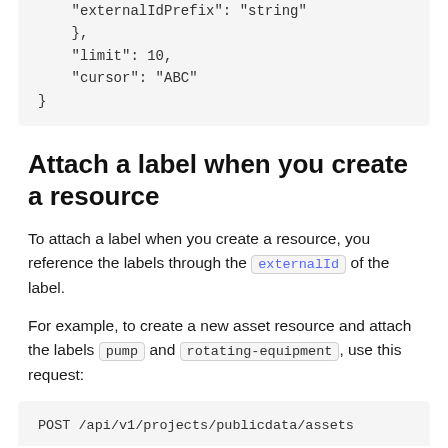"externalIdPrefix": "string"
    },
    "limit": 10,
    "cursor": "ABC"
}
Attach a label when you create a resource
To attach a label when you create a resource, you reference the labels through the externalId of the label.
For example, to create a new asset resource and attach the labels pump and rotating-equipment, use this request:
POST /api/v1/projects/publicdata/assets